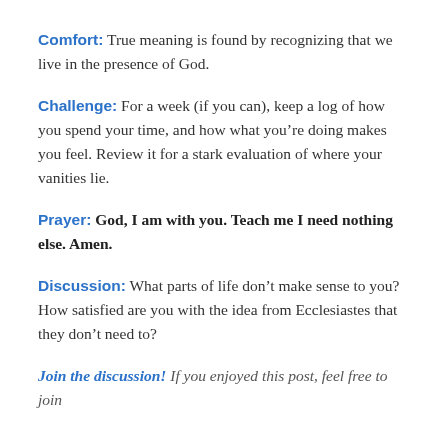Comfort: True meaning is found by recognizing that we live in the presence of God.
Challenge: For a week (if you can), keep a log of how you spend your time, and how what you’re doing makes you feel. Review it for a stark evaluation of where your vanities lie.
Prayer: God, I am with you. Teach me I need nothing else. Amen.
Discussion: What parts of life don’t make sense to you? How satisfied are you with the idea from Ecclesiastes that they don’t need to?
Join the discussion! If you enjoyed this post, feel free to join